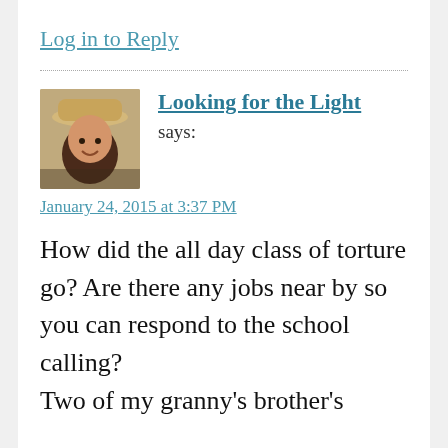Log in to Reply
[Figure (photo): Profile photo of a woman wearing a cowboy hat, smiling, with dark hair]
Looking for the Light says:
January 24, 2015 at 3:37 PM
How did the all day class of torture go? Are there any jobs near by so you can respond to the school calling?
Two of my granny's brother's